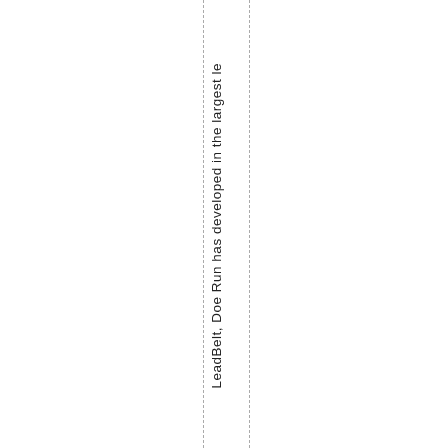LeadBelt, Doe Run has developed in the largest le